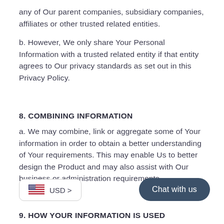any of Our parent companies, subsidiary companies, affiliates or other trusted related entities.
b. However, We only share Your Personal Information with a trusted related entity if that entity agrees to Our privacy standards as set out in this Privacy Policy.
8. COMBINING INFORMATION
a. We may combine, link or aggregate some of Your information in order to obtain a better understanding of Your requirements. This may enable Us to better design the Product and may also assist with Our business or administration requirements.
[Figure (other): Currency selector button showing US flag and USD label with arrow]
[Figure (other): Chat with us button - rounded rectangle with dark blue background]
9. HOW YOUR INFORMATION IS USED